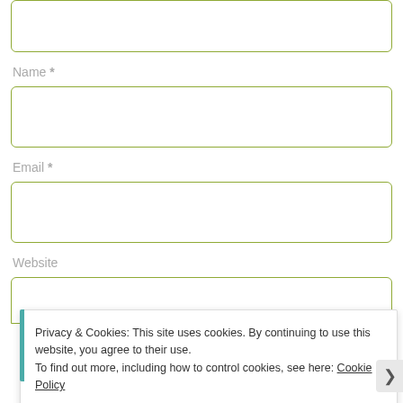[Figure (other): Partial text input box (comment area) at top of page, with olive/green border and rounded corners]
Name *
[Figure (other): Name input field with olive/green border and rounded corners]
Email *
[Figure (other): Email input field with olive/green border and rounded corners]
Website
[Figure (other): Website input field with olive/green border and rounded corners, partially visible]
Privacy & Cookies: This site uses cookies. By continuing to use this website, you agree to their use.
To find out more, including how to control cookies, see here: Cookie Policy
Close and accept